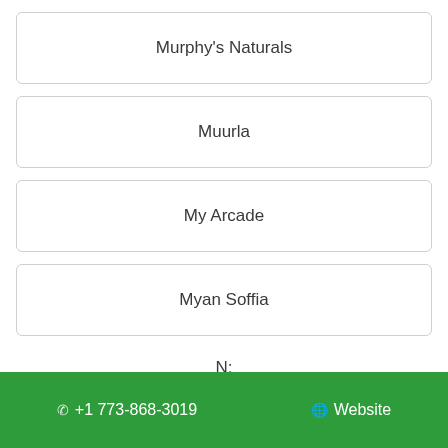Murphy's Naturals
Muurla
My Arcade
Myan Soffia
N:
☎ +1 773-868-3019   🌐 Website